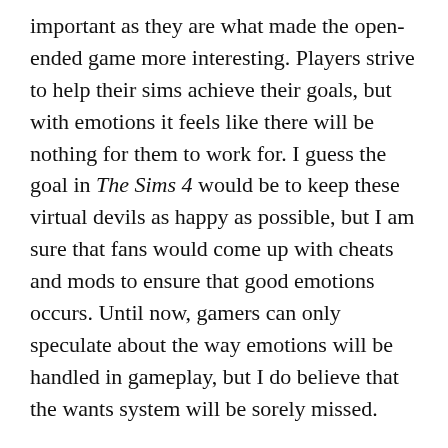important as they are what made the open-ended game more interesting. Players strive to help their sims achieve their goals, but with emotions it feels like there will be nothing for them to work for. I guess the goal in The Sims 4 would be to keep these virtual devils as happy as possible, but I am sure that fans would come up with cheats and mods to ensure that good emotions occurs. Until now, gamers can only speculate about the way emotions will be handled in gameplay, but I do believe that the wants system will be sorely missed.
Concerns aside, this feature does promise to feed the inner psychopath in each and every sim-addict. Holing up in the dark of their room,